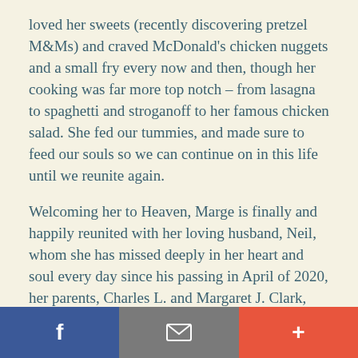loved her sweets (recently discovering pretzel M&Ms) and craved McDonald's chicken nuggets and a small fry every now and then, though her cooking was far more top notch – from lasagna to spaghetti and stroganoff to her famous chicken salad. She fed our tummies, and made sure to feed our souls so we can continue on in this life until we reunite again.
Welcoming her to Heaven, Marge is finally and happily reunited with her loving husband, Neil, whom she has missed deeply in her heart and soul every day since his passing in April of 2020, her parents, Charles L. and Margaret J. Clark, her angel son Timmy, her in-laws, Albert E. and Mary J. Kelly, dear son-
in-law Jimmy Lightner, Jr., her beloved sister-in-law Susan Krammer, many valued friends from a life well lived and the many pets who were members of our
[Figure (other): Social sharing footer bar with three buttons: Facebook (blue), Email/envelope (gray), and Plus/share (red-orange)]